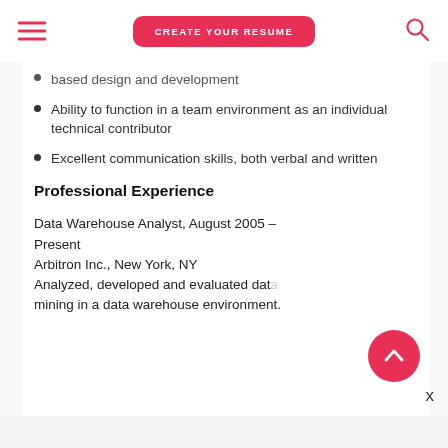CREATE YOUR RESUME
based design and development
Ability to function in a team environment as an individual technical contributor
Excellent communication skills, both verbal and written
Professional Experience
Data Warehouse Analyst, August 2005 – Present
Arbitron Inc., New York, NY
Analyzed, developed and evaluated data mining in a data warehouse environment.